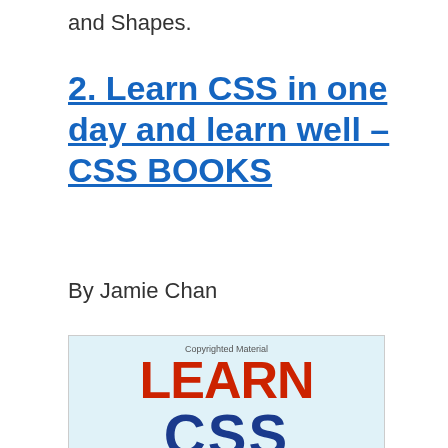and Shapes.
2. Learn CSS in one day and learn well – CSS BOOKS
By Jamie Chan
[Figure (illustration): Book cover for 'Learn CSS in One Day and Learn Well' by Jamie Chan. Light blue background with 'Copyrighted Material' text at top. Large bold red text 'LEARN' and large bold dark blue text 'CSS' partially visible.]